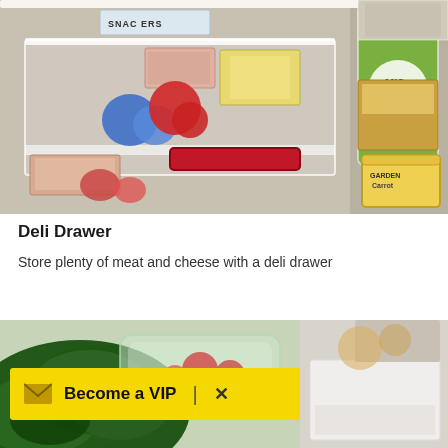[Figure (photo): A refrigerator deli drawer pulled open, showing packaged meats, cheeses, fruits including strawberries, and various food containers. A red handle is visible on the drawer. Jars and a carrot cup are visible on the right side.]
Deli Drawer
Store plenty of meat and cheese with a deli drawer
[Figure (photo): Close-up of a refrigerator crisper drawer area with kale/leafy greens, a plastic bag with produce, tomatoes, and a white drawer below.]
Become a VIP